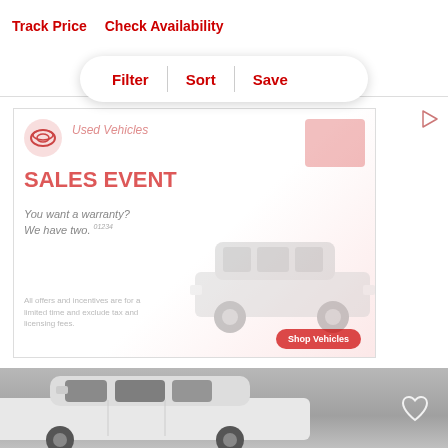Track Price   Check Availability
[Figure (screenshot): Filter/Sort/Save pill button UI element with three options separated by dividers]
[Figure (photo): Car dealership advertisement showing Toyota used vehicles sales event with SUV image]
[Figure (photo): White SUV vehicle photo on gray background with heart/save icon]
[Figure (other): Loading indicator with two small dots/icons inside a white bordered rectangle]